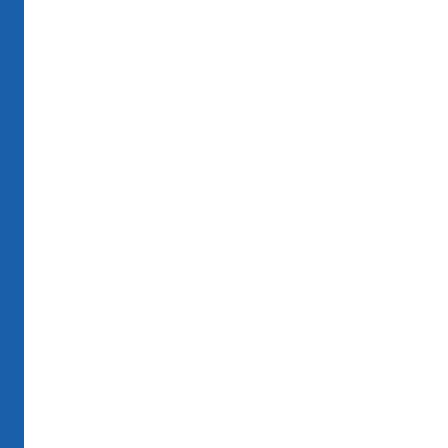[url=http://thepawpho... pfizer viagra online
qa=user&qa_ sildenafil canadian dr mod=
تبليغ عن اساءة
Знаете ли вы? Битву трёх селе Великобритан стирали бел примирить Арарат и
تبليغ عن اساءة
chao...ciali